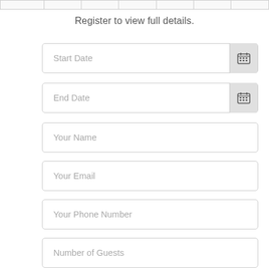|  |
Register to view full details.
Start Date
End Date
Your Name
Your Email
Your Phone Number
Number of Guests
Ceremony
Reception
Both